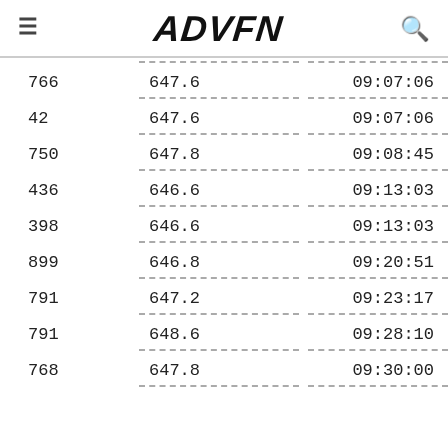ADVFN
| Volume | Price | Time |
| --- | --- | --- |
| 766 | 647.6 | 09:07:06 |
| 42 | 647.6 | 09:07:06 |
| 750 | 647.8 | 09:08:45 |
| 436 | 646.6 | 09:13:03 |
| 398 | 646.6 | 09:13:03 |
| 899 | 646.8 | 09:20:51 |
| 791 | 647.2 | 09:23:17 |
| 791 | 648.6 | 09:28:10 |
| 768 | 647.8 | 09:30:00 |